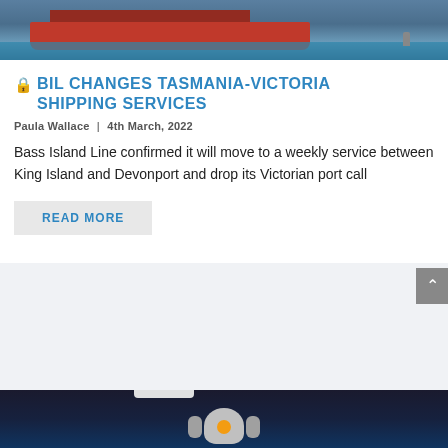[Figure (photo): Photo of a red cargo ship hull docked at a port, with water visible below and a bollard on the dock.]
BIL CHANGES TASMANIA-VICTORIA SHIPPING SERVICES
Paula Wallace | 4th March, 2022
Bass Island Line confirmed it will move to a weekly service between King Island and Devonport and drop its Victorian port call
READ MORE
[Figure (photo): Photo of a robot or automated machine in what appears to be an indoor facility with ceiling lights visible.]